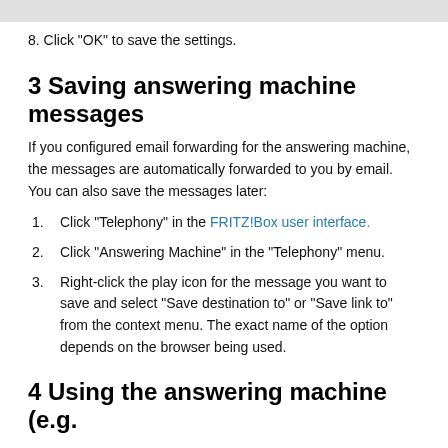8. Click "OK" to save the settings.
3 Saving answering machine messages
If you configured email forwarding for the answering machine, the messages are automatically forwarded to you by email. You can also save the messages later:
1. Click "Telephony" in the FRITZ!Box user interface.
2. Click "Answering Machine" in the "Telephony" menu.
3. Right-click the play icon for the message you want to save and select "Save destination to" or "Save link to" from the context menu. The exact name of the option depends on the browser being used.
4 Using the answering machine (e.g.